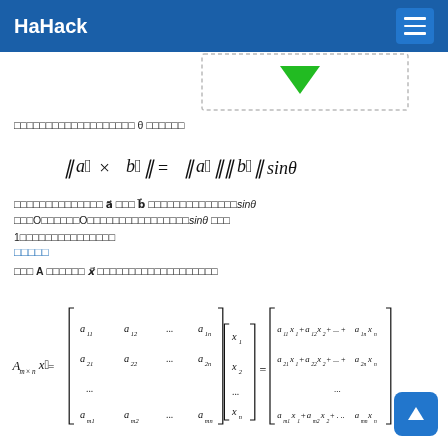HaHack
[Figure (screenshot): Dropdown tooltip UI element with green downward arrow on white background with dashed border]
ผลคูณเชิงขวางระหว่างเวกเตอร์ θ สองตัวคือ
โดยที่เวกเตอร์ a⃗ และ b⃗ และมุมระหว่างกันsinθ โดยO≤θ≤Oและค่าsinθ มีค่าระหว่าง 1ถึงค่าสูงสุดคือ
เมตริก
นิยาม A เมตริกซ์ x⃗ เวกเตอร์คอลัมน์ดังต่อไปนี้